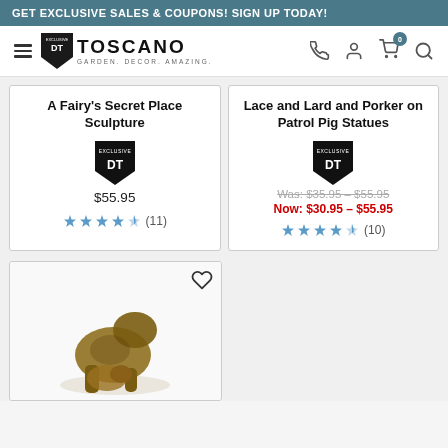GET EXCLUSIVE SALES & COUPONS! SIGN UP TODAY!
[Figure (logo): Design Toscano logo with shield emblem and tagline GARDEN. DECOR. AMAZING.]
A Fairy's Secret Place Sculpture
$55.95
(11) stars rating
Lace and Lard and Porker on Patrol Pig Statues
Was: $35.95 – $55.95
Now: $30.95 – $55.95
(10) stars rating
[Figure (photo): Bronze-finish animal sculpture (panther/big cat) shown in product card below left]